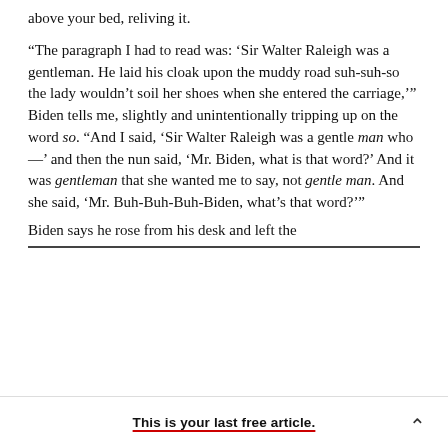above your bed, reliving it.
“The paragraph I had to read was: ‘Sir Walter Raleigh was a gentleman. He laid his cloak upon the muddy road suh-suh-so the lady wouldn’t soil her shoes when she entered the carriage,’” Biden tells me, slightly and unintentionally tripping up on the word so. “And I said, ‘Sir Walter Raleigh was a gentle man who—’ and then the nun said, ‘Mr. Biden, what is that word?’ And it was gentleman that she wanted me to say, not gentle man. And she said, ‘Mr. Buh-Buh-Buh-Biden, what’s that word?’”
Biden says he rose from his desk and left the
This is your last free article.